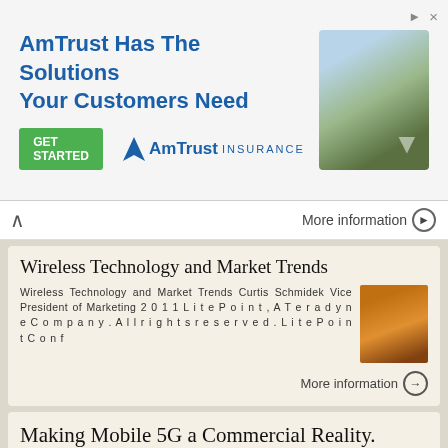[Figure (other): AmTrust Insurance advertisement banner with text 'AmTrust Has The Solutions Your Customers Need', a green 'GET STARTED' button, AmTrust Insurance logo, and a decorative map image]
More information
Wireless Technology and Market Trends
Wireless Technology and Market Trends Curtis Schmidek Vice President of Marketing 2011 LitePoint, A Teradyne Company. All rights reserved. LitePoint Conf
More information
Making Mobile 5G a Commercial Reality. Peter Carson Senior Director Product Marketing Qualcomm Technologies, Inc.
Making Mobile 5G a Commercial Reality